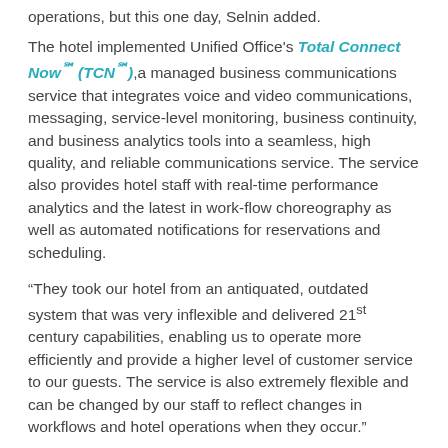operations, but this one day, Selnin added.
The hotel implemented Unified Office's Total Connect Now℠ (TCN℠),a managed business communications service that integrates voice and video communications, messaging, service-level monitoring, business continuity, and business analytics tools into a seamless, high quality, and reliable communications service. The service also provides hotel staff with real-time performance analytics and the latest in work-flow choreography as well as automated notifications for reservations and scheduling.
“They took our hotel from an antiquated, outdated system that was very inflexible and delivered 21st century capabilities, enabling us to operate more efficiently and provide a higher level of customer service to our guests. The service is also extremely flexible and can be changed by our staff to reflect changes in workflows and hotel operations when they occur.”